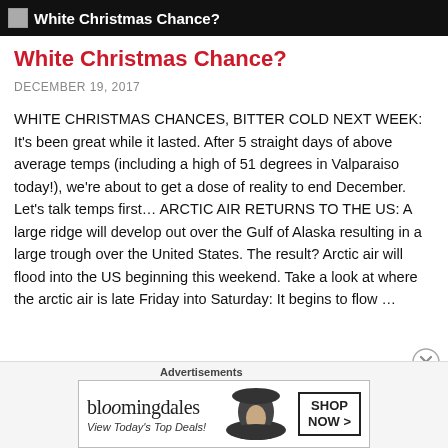White Christmas Chance?
White Christmas Chance?
DECEMBER 19, 2017
WHITE CHRISTMAS CHANCES, BITTER COLD NEXT WEEK: It’s been great while it lasted. After 5 straight days of above average temps (including a high of 51 degrees in Valparaiso today!), we’re about to get a dose of reality to end December. Let’s talk temps first… ARCTIC AIR RETURNS TO THE US: A large ridge will develop out over the Gulf of Alaska resulting in a large trough over the United States. The result? Arctic air will flood into the US beginning this weekend. Take a look at where the arctic air is late Friday into Saturday: It begins to flow …
Advertisements
[Figure (other): Bloomingdale's advertisement banner with woman wearing large hat, text: bloomingdales, View Today’s Top Deals!, SHOP NOW >]